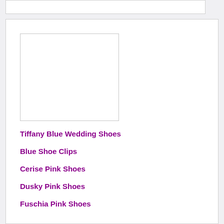[Figure (other): Empty white image placeholder box with light border]
Tiffany Blue Wedding Shoes
Blue Shoe Clips
Cerise Pink Shoes
Dusky Pink Shoes
Fuschia Pink Shoes